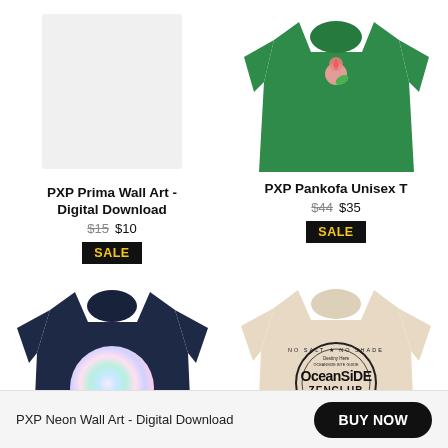[Figure (photo): Light gray/white rectangular placeholder image for PXP Prima Wall Art]
PXP Prima Wall Art - Digital Download
$15 $10
SALE
[Figure (photo): Green t-shirt with small pink floral design on chest]
PXP Pankofa Unisex T
$44 $35
SALE
[Figure (photo): Navy blue t-shirt with iridescent colorful circle design on back]
[Figure (photo): Beige t-shirt with Oceanside Zen Club circular logo]
PXP Neon Wall Art - Digital Download
BUY NOW